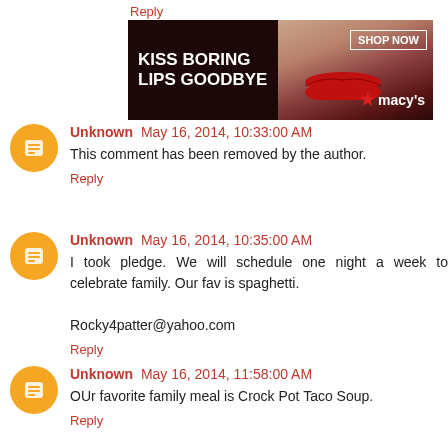Reply
[Figure (photo): Macy's advertisement banner: 'KISS BORING LIPS GOODBYE' with woman's face and red lips, SHOP NOW button and Macy's logo]
Unknown May 16, 2014, 10:33:00 AM
This comment has been removed by the author.
Reply
Unknown May 16, 2014, 10:35:00 AM
I took pledge. We will schedule one night a week to celebrate family. Our fav is spaghetti.

Rocky4patter@yahoo.com
Reply
Unknown May 16, 2014, 11:58:00 AM
OUr favorite family meal is Crock Pot Taco Soup.
Reply